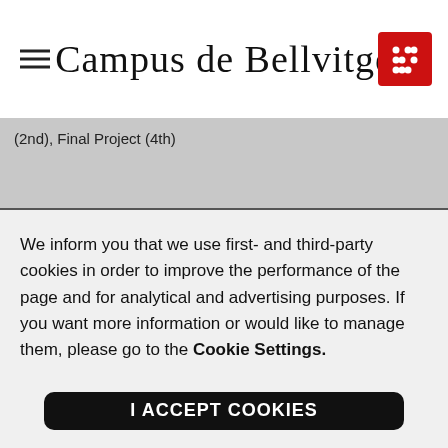Campus de Bellvitge
(2nd), Final Project (4th)
We inform you that we use first- and third-party cookies in order to improve the performance of the page and for analytical and advertising purposes. If you want more information or would like to manage them, please go to the Cookie Settings.
I ACCEPT COOKIES